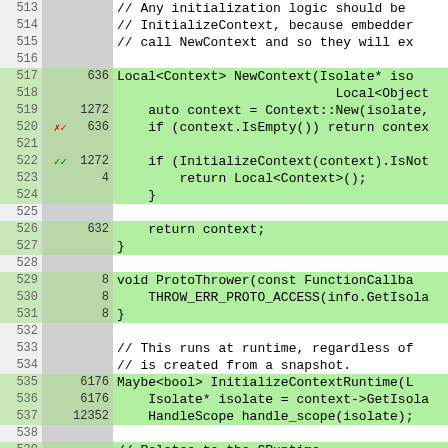[Figure (screenshot): Code coverage viewer showing C++ source lines 513-539 with line numbers, hit counts, coverage markers (green highlighted = covered, plain = not covered), and code content. Some lines show red X/checkmark markers and green checkmarks for branch coverage.]